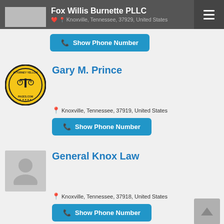Fox Willis Burnette PLLC — Knoxville, Tennessee, 37929, United States
Show Phone Number
Gary M. Prince
Knoxville, Tennessee, 37919, United States
Show Phone Number
General Knox Law
Knoxville, Tennessee, 37918, United States
Show Phone Number
General Knox Law